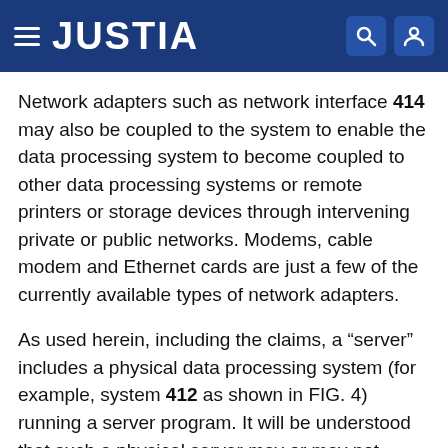JUSTIA
Network adapters such as network interface 414 may also be coupled to the system to enable the data processing system to become coupled to other data processing systems or remote printers or storage devices through intervening private or public networks. Modems, cable modem and Ethernet cards are just a few of the currently available types of network adapters.
As used herein, including the claims, a “server” includes a physical data processing system (for example, system 412 as shown in FIG. 4) running a server program. It will be understood that such a physical server may or may not include a display and keyboard.
As noted, aspects of the present invention may take the form of a computer program product embodied in a computer readable medium having computer readable